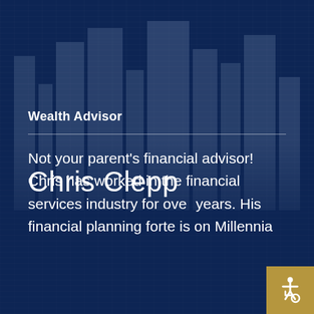[Figure (photo): Dark blue background with blurred cityscape/building imagery visible in the upper portion of the page]
Chris Clepp
Wealth Advisor
Not your parent's financial advisor! Chris has worked in the financial services industry for over years. His financial planning forte is on Millennia business owners and professional athletes...